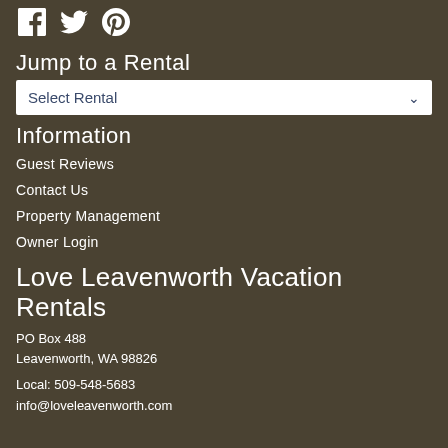[Figure (illustration): Social media icons: Facebook, Twitter, Pinterest]
Jump to a Rental
Select Rental (dropdown)
Information
Guest Reviews
Contact Us
Property Management
Owner Login
Love Leavenworth Vacation Rentals
PO Box 488
Leavenworth, WA 98826
Local: 509-548-5683
info@loveleavenworth.com